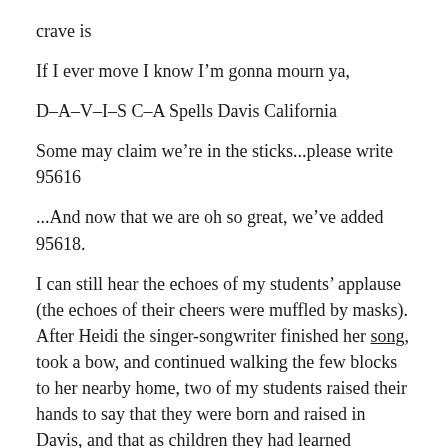crave is
If I ever move I know I'm gonna mourn ya,
D–A–V–I–S C–A Spells Davis California
Some may claim we're in the sticks...please write 95616
...And now that we are oh so great, we've added 95618.
I can still hear the echoes of my students' applause (the echoes of their cheers were muffled by masks). After Heidi the singer-songwriter finished her song, took a bow, and continued walking the few blocks to her nearby home, two of my students raised their hands to say that they were born and raised in Davis, and that as children they had learned ceramics from Heidi at Davis Arts Center, meaning that a decade or more earlier, Heidi had actually prepared her students for her 2021